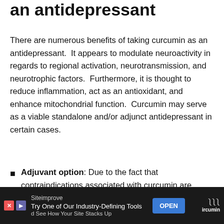an antidepressant
There are numerous benefits of taking curcumin as an antidepressant.  It appears to modulate neuroactivity in regards to regional activation, neurotransmission, and neurotrophic factors.  Furthermore, it is thought to reduce inflammation, act as an antioxidant, and enhance mitochondrial function.  Curcumin may serve as a viable standalone and/or adjunct antidepressant in certain cases.
Adjuvant option: Due to the fact that contraindications associated with curcumin are minimal, it may be an effective antidepressant augmentation strategy.  In other words, taking curcumin along with a prescribed antidepressant may
Siteimprove — Try One of Our Industry-Defining Tools and See How Your Site Stacks Up — OPEN